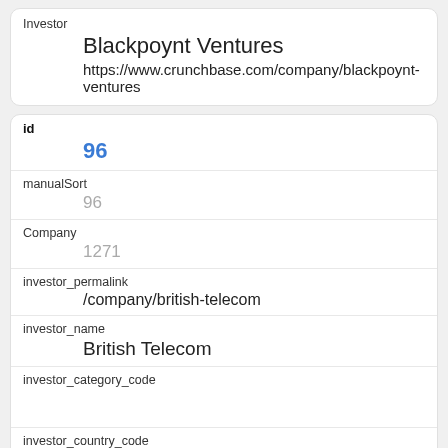Investor
Blackpoynt Ventures
https://www.crunchbase.com/company/blackpoynt-ventures
id
96
manualSort
96
Company
1271
investor_permalink
/company/british-telecom
investor_name
British Telecom
investor_category_code
investor_country_code
investor_state_code